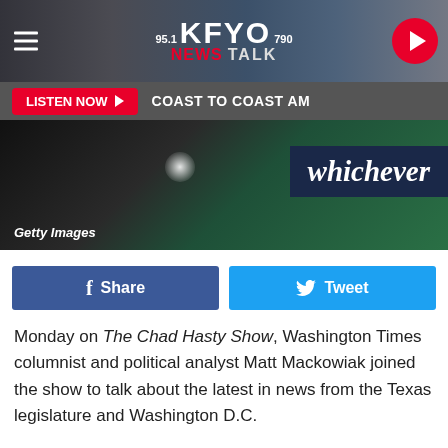95.1 KFYO 790 NEWS TALK
[Figure (screenshot): KFYO News Talk radio station logo with hamburger menu and play button on dark background with map imagery]
[Figure (photo): Photo with 'whichever' text on dark blue label against green background, Getty Images watermark]
LISTEN NOW ▶  COAST TO COAST AM
f Share   Tweet
Monday on The Chad Hasty Show, Washington Times columnist and political analyst Matt Mackowiak joined the show to talk about the latest in news from the Texas legislature and Washington D.C.
Mackowiak and Hasty discussed the always contentious "sanctuary cities" and various positions on that front, the